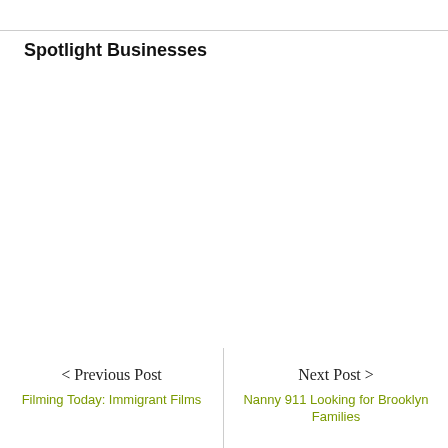Spotlight Businesses
< Previous Post
Filming Today: Immigrant Films
Next Post >
Nanny 911 Looking for Brooklyn Families